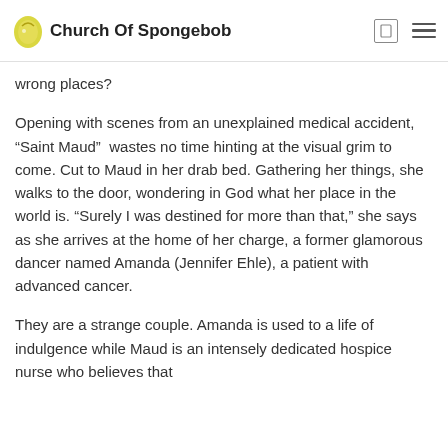Church Of Spongebob
wrong places?
Opening with scenes from an unexplained medical accident, “Saint Maud” wastes no time hinting at the visual grim to come. Cut to Maud in her drab bed. Gathering her things, she walks to the door, wondering in God what her place in the world is. “Surely I was destined for more than that,” she says as she arrives at the home of her charge, a former glamorous dancer named Amanda (Jennifer Ehle), a patient with advanced cancer.
They are a strange couple. Amanda is used to a life of indulgence while Maud is an intensely dedicated hospice nurse who believes that